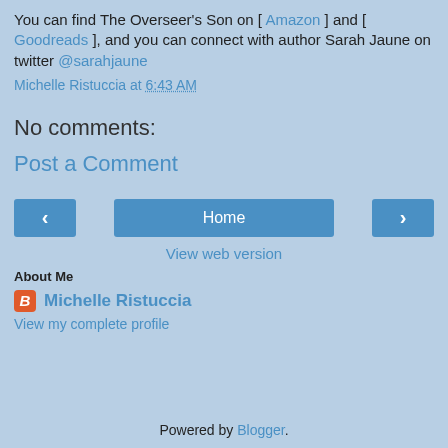You can find The Overseer's Son on [ Amazon ] and [ Goodreads ], and you can connect with author Sarah Jaune on twitter @sarahjaune
Michelle Ristuccia at 6:43 AM
No comments:
Post a Comment
[Figure (other): Navigation buttons: left arrow, Home, right arrow]
View web version
About Me
Michelle Ristuccia
View my complete profile
Powered by Blogger.